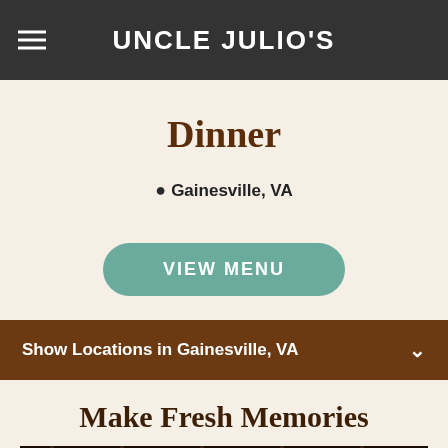UNCLE JULIO'S
Dinner
Gainesville, VA
VIEW MENU
Show Locations in Gainesville, VA
Make Fresh Memories
[Figure (photo): Interior of Uncle Julio's restaurant showing warm lighting with pendant bulb lights and wooden decor]